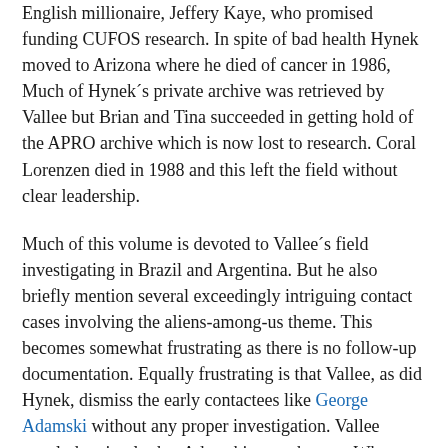English millionaire, Jeffery Kaye, who promised funding CUFOS research. In spite of bad health Hynek moved to Arizona where he died of cancer in 1986. Much of Hynek´s private archive was retrieved by Vallee but Brian and Tina succeeded in getting hold of the APRO archive which is now lost to research. Coral Lorenzen died in 1988 and this left the field without clear leadership.
Much of this volume is devoted to Vallee´s field investigating in Brazil and Argentina. But he also briefly mention several exceedingly intriguing contact cases involving the aliens-among-us theme. This becomes somewhat frustrating as there is no follow-up documentation. Equally frustrating is that Vallee, as did Hynek, dismiss the early contactees like George Adamski without any proper investigation. Vallee concludes simply that Adamski was a hoaxer. What scientific ufologists often fail to recognize is that this kind of emotional response is simply a reflection of the naïve new age ufologists who already know the answer without investigation. Mere criticism is not enough. You must have facts. This quote is revealing: "... I felt as I often do with contactees and visionaries, that I am before a deluded person, there´s something almost